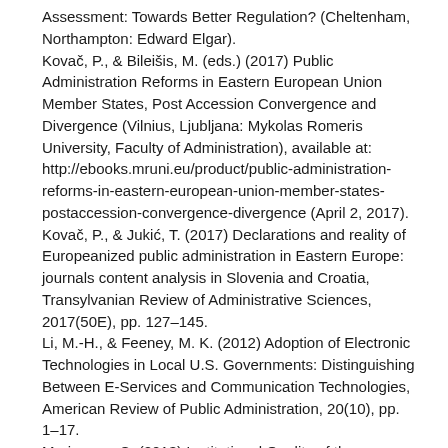Assessment: Towards Better Regulation? (Cheltenham, Northampton: Edward Elgar).
Kovač, P., & Bileišis, M. (eds.) (2017) Public Administration Reforms in Eastern European Union Member States, Post Accession Convergence and Divergence (Vilnius, Ljubljana: Mykolas Romeris University, Faculty of Administration), available at: http://ebooks.mruni.eu/product/public-administration-reforms-in-eastern-european-union-member-states-postaccession-convergence-divergence (April 2, 2017).
Kovač, P., & Jukić, T. (2017) Declarations and reality of Europeanized public administration in Eastern Europe: journals content analysis in Slovenia and Croatia, Transylvanian Review of Administrative Sciences, 2017(50E), pp. 127–145.
Li, M.-H., & Feeney, M. K. (2012) Adoption of Electronic Technologies in Local U.S. Governments: Distinguishing Between E-Services and Communication Technologies, American Review of Public Administration, 20(10), pp. 1–17.
Marinescu, C. (2013) Institutional Quality of the Business Environment: Some European Practices in a Comparative Analysis, Studia Europea, 15(33), pp. 270–287.